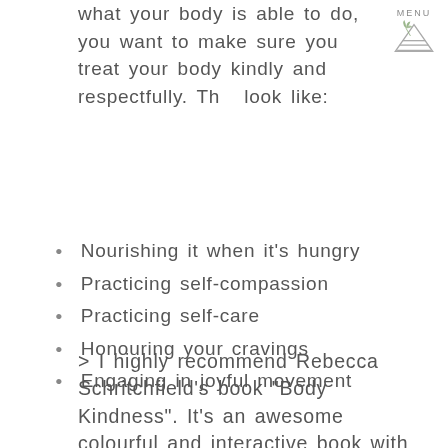what your body is able to do, you want to make sure you treat your body kindly and respectfully. This look like:
[Figure (logo): Decorative logo with a triangle, leaf/plant sprig, and three horizontal lines, with the word MENU above it]
Nourishing it when it’s hungry
Practicing self-compassion
Practicing self-care
Honouring your cravings
Engaging in joyful movement
> I highly recommend Rebecca Schritchfield’s book “Body Kindness”. It’s an awesome colourful and interactive book with great reflective questions and